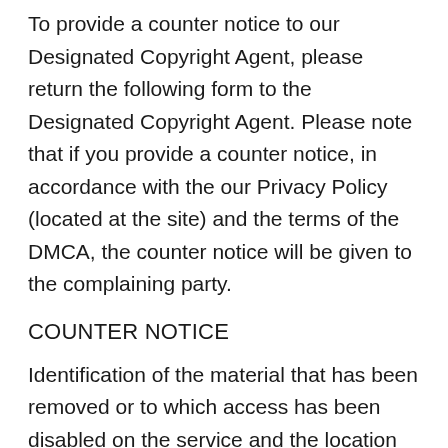To provide a counter notice to our Designated Copyright Agent, please return the following form to the Designated Copyright Agent. Please note that if you provide a counter notice, in accordance with the our Privacy Policy (located at the site) and the terms of the DMCA, the counter notice will be given to the complaining party.
COUNTER NOTICE
Identification of the material that has been removed or to which access has been disabled on the service and the location at which the material appeared before it was